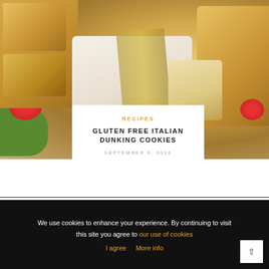[Figure (photo): Food photography showing pastries, cookies, and baked goods with a strawberry and green garnish on a light wooden surface]
RECIPES
GLUTEN FREE ITALIAN DUNKING COOKIES
SEPTEMBER 9, 2018
6 COMMENTS
We use cookies to enhance your experience. By continuing to visit this site you agree to our use of cookies
I agree  More info